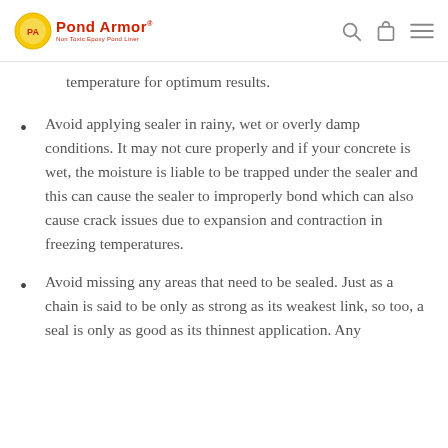Pond Armor — navigation header with logo, search, cart, and menu icons
temperature for optimum results.
Avoid applying sealer in rainy, wet or overly damp conditions. It may not cure properly and if your concrete is wet, the moisture is liable to be trapped under the sealer and this can cause the sealer to improperly bond which can also cause crack issues due to expansion and contraction in freezing temperatures.
Avoid missing any areas that need to be sealed. Just as a chain is said to be only as strong as its weakest link, so too, a seal is only as good as its thinnest application. Any